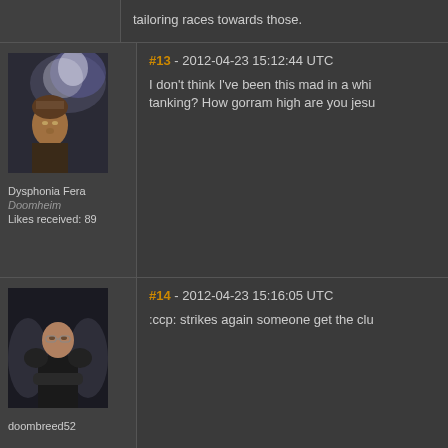tailoring races towards those.
#13 - 2012-04-23 15:12:44 UTC
[Figure (photo): Avatar image of Dysphonia Fera - dark fantasy portrait with smoky background]
Dysphonia Fera
Doomheim
Likes received: 89
I don't think I've been this mad in a while tanking? How gorram high are you jesu
#14 - 2012-04-23 15:16:05 UTC
[Figure (photo): Avatar image of doombreed52 - bald character in dark armor]
doombreed52
:ccp: strikes again someone get the clu